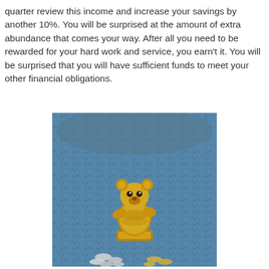quarter review this income and increase your savings by another 10%. You will be surprised at the amount of extra abundance that comes your way. After all you need to be rewarded for your hard work and service, you earn't it. You will be surprised that you will have sufficient funds to meet your other financial obligations.
[Figure (photo): A gold-colored figurine resembling a cartoon bear character (Winnie the Pooh style), sitting on a small base, surrounded by blue decorative gravel/stones, with coins scattered at the bottom of the image.]